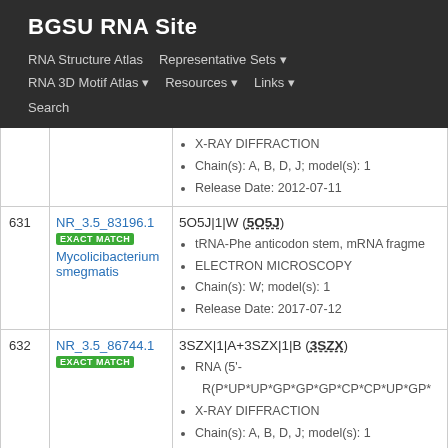BGSU RNA Site
RNA Structure Atlas | Representative Sets ▾ | RNA 3D Motif Atlas ▾ | Resources ▾ | Links ▾ | Search
| # | Cluster | Details |
| --- | --- | --- |
|  |  | X-RAY DIFFRACTION
Chain(s): A, B, D, J; model(s): 1
Release Date: 2012-07-11 |
| 631 | NR_3.5_83196.1
EXACT MATCH
Mycolicibacterium smegmatis | 5O5J|1|W (5O5J)
tRNA-Phe anticodon stem, mRNA fragme...
ELECTRON MICROSCOPY
Chain(s): W; model(s): 1
Release Date: 2017-07-12 |
| 632 | NR_3.5_86744.1
EXACT MATCH | 3SZX|1|A+3SZX|1|B (3SZX)
RNA (5'-R(P*UP*UP*GP*GP*GP*CP*CP*UP*GP*...
X-RAY DIFFRACTION
Chain(s): A, B, D, J; model(s): 1
Release Date: 2012-01-25 |